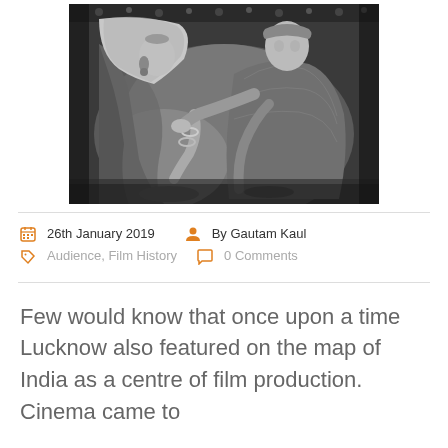[Figure (photo): Black and white photograph of a wedding scene, likely from an old Indian film. A woman in a bridal veil and attire is seated, while a man in ornate sherwani leans toward her, appearing to apply sindoor or bless her.]
26th January 2019  By Gautam Kaul  Audience, Film History  0 Comments
Few would know that once upon a time Lucknow also featured on the map of India as a centre of film production. Cinema came to